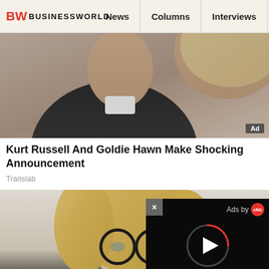BW BUSINESSWORLD | News | Columns | Interviews | BW
[Figure (photo): Photo of an older man and woman (Kurt Russell and Goldie Hawn) in close proximity, black and white tones, with an 'Ad' badge]
Kurt Russell And Goldie Hawn Make Shocking Announcement
Traitslab
[Figure (photo): Photo of a young blonde woman wearing dark-rimmed glasses against a light background]
9 Celebrities Who Look Older Th... [truncated by video overlay]